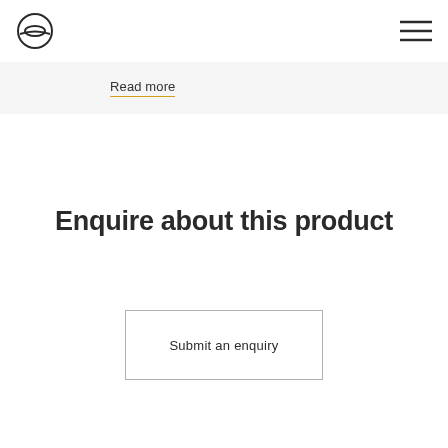logo and navigation
Read more
Enquire about this product
Submit an enquiry